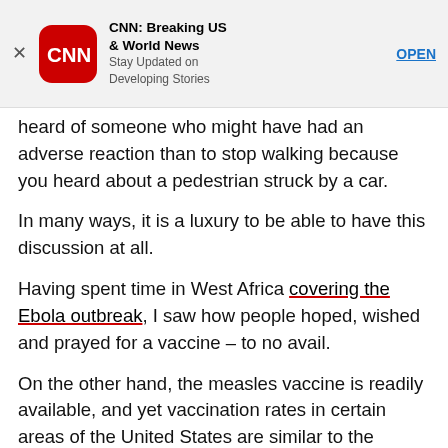[Figure (screenshot): CNN app advertisement banner with red CNN logo icon, app name 'CNN: Breaking US & World News', tagline 'Stay Updated on Developing Stories', and blue OPEN button. A close (X) button is on the left.]
heard of someone who might have had an adverse reaction than to stop walking because you heard about a pedestrian struck by a car.
In many ways, it is a luxury to be able to have this discussion at all.
Having spent time in West Africa covering the Ebola outbreak, I saw how people hoped, wished and prayed for a vaccine – to no avail.
On the other hand, the measles vaccine is readily available, and yet vaccination rates in certain areas of the United States are similar to the refugee camps I have visited in Haiti, Pakistan and Jordan.